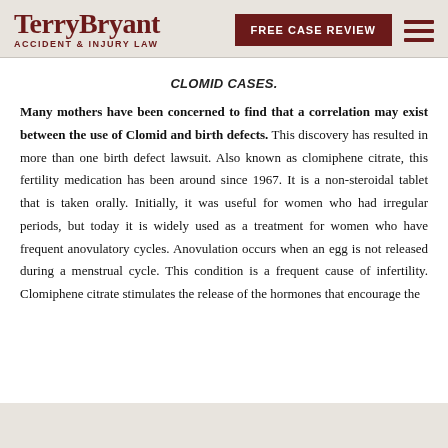TerryBryant ACCIDENT & INJURY LAW
CLOMID CASES.
Many mothers have been concerned to find that a correlation may exist between the use of Clomid and birth defects. This discovery has resulted in more than one birth defect lawsuit. Also known as clomiphene citrate, this fertility medication has been around since 1967. It is a non-steroidal tablet that is taken orally. Initially, it was useful for women who had irregular periods, but today it is widely used as a treatment for women who have frequent anovulatory cycles. Anovulation occurs when an egg is not released during a menstrual cycle. This condition is a frequent cause of infertility. Clomiphene citrate stimulates the release of the hormones that encourage the